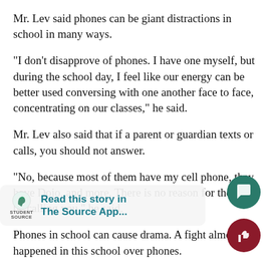Mr. Lev said phones can be giant distractions in school in many ways.
“I don’t disapprove of phones. I have one myself, but during the school day, I feel like our energy can be better used conversing with one another face to face, concentrating on our classes,” he said.
Mr. Lev also said that if a parent or guardian texts or calls, you should not answer.
“No, because most of them have my cell phone, they have Dojo, and more. There is no reason for them to be calling you,” he said.
Phones in school can cause drama. A fight almost happened in this school over phones.
There was an incident that thankfully nothing happened but there was a lot of trash-talking back an…